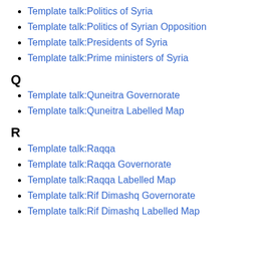Template talk:Politics of Syria
Template talk:Politics of Syrian Opposition
Template talk:Presidents of Syria
Template talk:Prime ministers of Syria
Q
Template talk:Quneitra Governorate
Template talk:Quneitra Labelled Map
R
Template talk:Raqqa
Template talk:Raqqa Governorate
Template talk:Raqqa Labelled Map
Template talk:Rif Dimashq Governorate
Template talk:Rif Dimashq Labelled Map